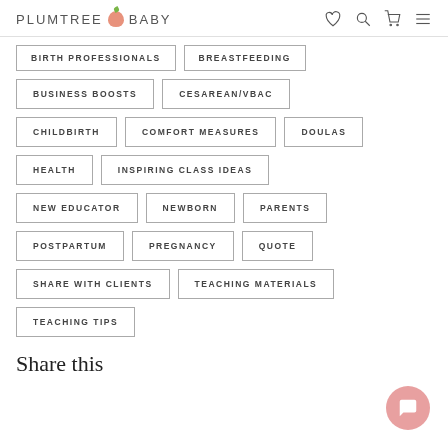PLUMTREE BABY
BIRTH PROFESSIONALS
BREASTFEEDING
BUSINESS BOOSTS
CESAREAN/VBAC
CHILDBIRTH
COMFORT MEASURES
DOULAS
HEALTH
INSPIRING CLASS IDEAS
NEW EDUCATOR
NEWBORN
PARENTS
POSTPARTUM
PREGNANCY
QUOTE
SHARE WITH CLIENTS
TEACHING MATERIALS
TEACHING TIPS
Share this